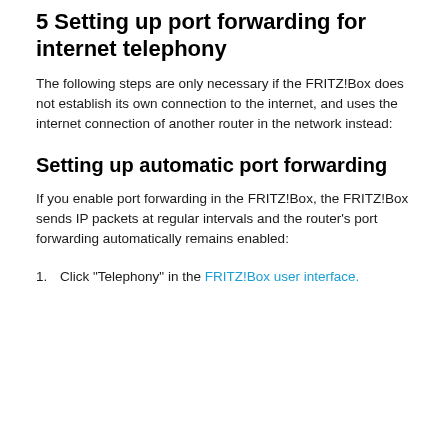If the field is not present, click "Cancel". The STUN server is already preconfigured.
5 Setting up port forwarding for internet telephony
The following steps are only necessary if the FRITZ!Box does not establish its own connection to the internet, and uses the internet connection of another router in the network instead:
Setting up automatic port forwarding
If you enable port forwarding in the FRITZ!Box, the FRITZ!Box sends IP packets at regular intervals and the router's port forwarding automatically remains enabled:
1. Click "Telephony" in the FRITZ!Box user interface.